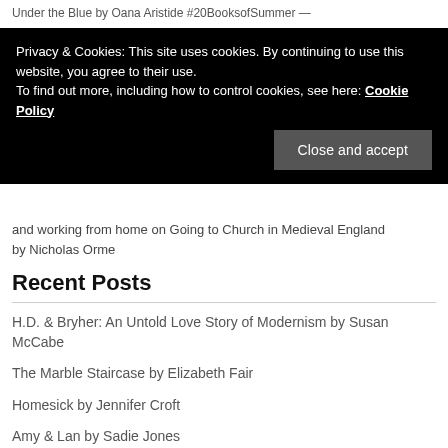Under the Blue by Oana Aristide #20BooksofSummer —
and working from home on Going to Church in Medieval England by Nicholas Orme
Privacy & Cookies: This site uses cookies. By continuing to use this website, you agree to their use. To find out more, including how to control cookies, see here: Cookie Policy
Close and accept
Recent Posts
H.D. & Bryher: An Untold Love Story of Modernism by Susan McCabe
The Marble Staircase by Elizabeth Fair
Homesick by Jennifer Croft
Amy & Lan by Sadie Jones
Going to Church in Medieval England by Nicholas Orme